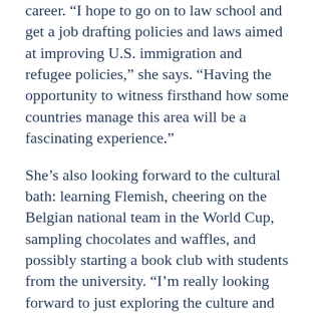career. “I hope to go on to law school and get a job drafting policies and laws aimed at improving U.S. immigration and refugee policies,” she says. “Having the opportunity to witness firsthand how some countries manage this area will be a fascinating experience.”
She’s also looking forward to the cultural bath: learning Flemish, cheering on the Belgian national team in the World Cup, sampling chocolates and waffles, and possibly starting a book club with students from the university. “I’m really looking forward to just exploring the culture and seeing what opportunities lie ahead,” she says. “That’s something I learned from Bucknell that I’ll always carry with me — to remember to be open to new experiences and opportunities.”